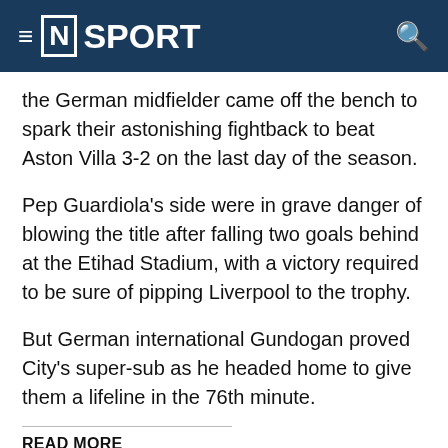[N] SPORT
the German midfielder came off the bench to spark their astonishing fightback to beat Aston Villa 3-2 on the last day of the season.
Pep Guardiola's side were in grave danger of blowing the title after falling two goals behind at the Etihad Stadium, with a victory required to be sure of pipping Liverpool to the trophy.
But German international Gundogan proved City's super-sub as he headed home to give them a lifeline in the 76th minute.
READ MORE
[Figure (photo): Photo thumbnail of a sports scene, blue tones]
After Rodri equalised, it was Gundogan who